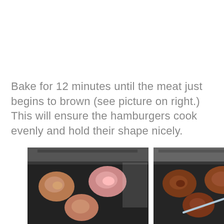Bake for 12 minutes until the meat just begins to brown (see picture on right.) This will ensure the hamburgers cook evenly and hold their shape nicely.
[Figure (photo): Two side-by-side photos of hamburger patties cooking on a cast iron grill pan. The left photo shows three patties beginning to brown. The right photo shows more browned patties with a meat thermometer being inserted. Below is a partially visible third photo showing raw patties.]